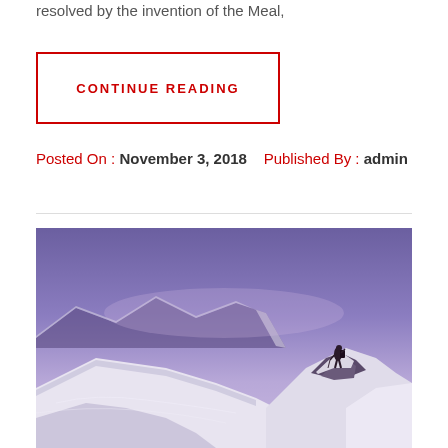resolved by the invention of the Meal,
CONTINUE READING
Posted On : November 3, 2018   Published By : admin
[Figure (photo): A mountain climber standing on a snowy rocky peak against a purple twilight sky, with snow-covered mountain ridges in the background.]